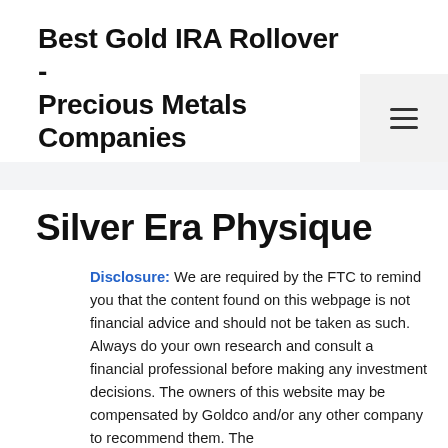Best Gold IRA Rollover - Precious Metals Companies
Silver Era Physique
Disclosure: We are required by the FTC to remind you that the content found on this webpage is not financial advice and should not be taken as such. Always do your own research and consult a financial professional before making any investment decisions. The owners of this website may be compensated by Goldco and/or any other company to recommend them. The